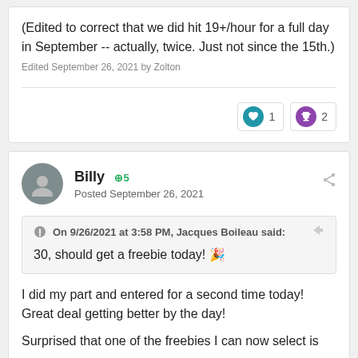(Edited to correct that we did hit 19+/hour for a full day in September -- actually, twice. Just not since the 15th.)
Edited September 26, 2021 by Zolton
Billy +5
Posted September 26, 2021
On 9/26/2021 at 3:58 PM, Jacques Boileau said:
30, should get a freebie today! 🎉
I did my part and entered for a second time today!  Great deal getting better by the day!
Surprised that one of the freebies I can now select is